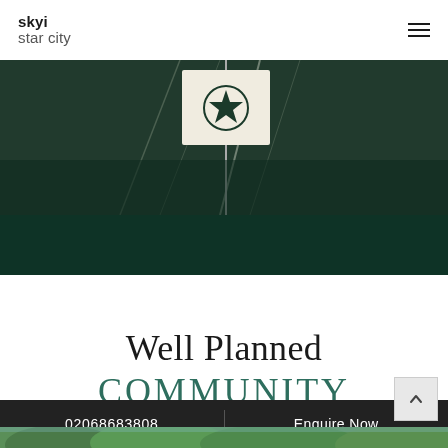skyi star city
[Figure (photo): Dark environmental photo showing a flag or sign with a star/emblem against a dark forest background, with diagonal light streaks]
Well Planned
COMMUNITY
02068683808    Enquire Now
[Figure (photo): Bottom strip showing green trees or foliage]